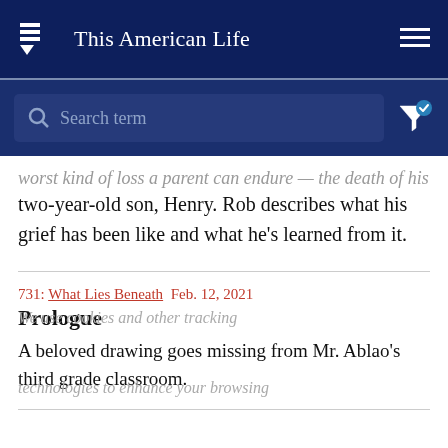This American Life
Search term
worst kind of loss a parent can endure — the death of his two-year-old son, Henry. Rob describes what his grief has been like and what he's learned from it.
731: What Lies Beneath Feb. 12, 2021
Prologue
A beloved drawing goes missing from Mr. Ablao's third grade classroom.
We use cookies and other tracking technologies to enhance your browsing experience and personalize content. By continuing to use our site, you agree to our use of such cookies. For more info, see our privacy policy.